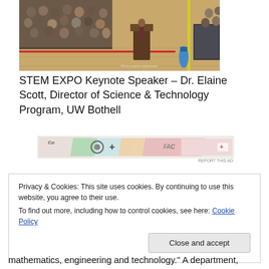[Figure (photo): A speaker stands at a podium in a gymnasium/basketball court addressing a large seated audience during what appears to be a STEM EXPO event. Students and attendees are visible in bleachers on the left side.]
STEM EXPO Keynote Speaker – Dr. Elaine Scott, Director of Science & Technology Program, UW Bothell
[Figure (other): An advertisement banner with colorful overlapping shapes and abstract imagery.]
Privacy & Cookies: This site uses cookies. By continuing to use this website, you agree to their use.
To find out more, including how to control cookies, see here: Cookie Policy
mathematics, engineering and technology." A department,